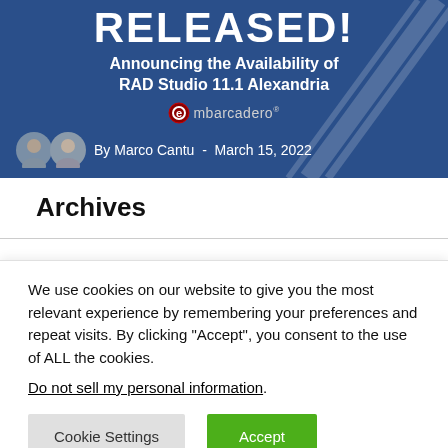[Figure (screenshot): Blue banner image for RAD Studio 11.1 Alexandria release announcement. Shows 'RELEASED!' in large white text, subtitle 'Announcing the Availability of RAD Studio 11.1 Alexandria', Embarcadero logo, and author 'By Marco Cantu - March 15, 2022' with two avatar photos.]
Archives
We use cookies on our website to give you the most relevant experience by remembering your preferences and repeat visits. By clicking “Accept”, you consent to the use of ALL the cookies.
Do not sell my personal information.
Cookie Settings   Accept